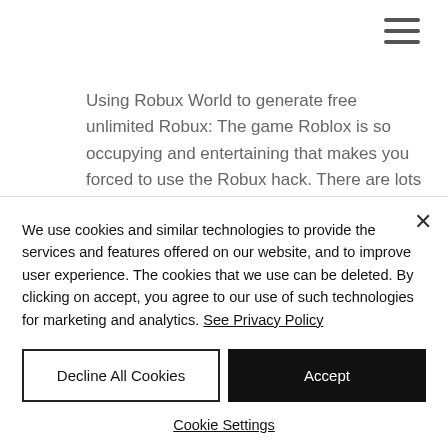[Figure (other): Hamburger menu icon (three horizontal lines) in the top right corner]
Using Robux World to generate free unlimited Robux: The game Roblox is so occupying and entertaining that makes you forced to use the Robux hack. There are lots of other Robux generators found online but the Robux World is widely used and tension-free to generate the Robux. The Rob...
We use cookies and similar technologies to provide the services and features offered on our website, and to improve user experience. The cookies that we use can be deleted. By clicking on accept, you agree to our use of such technologies for marketing and analytics. See Privacy Policy
Decline All Cookies
Accept
Cookie Settings